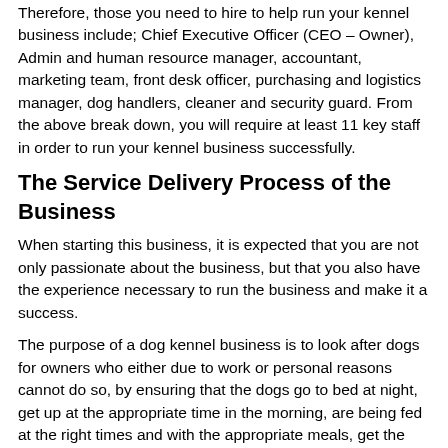Therefore, those you need to hire to help run your kennel business include; Chief Executive Officer (CEO – Owner), Admin and human resource manager, accountant, marketing team, front desk officer, purchasing and logistics manager, dog handlers, cleaner and security guard. From the above break down, you will require at least 11 key staff in order to run your kennel business successfully.
The Service Delivery Process of the Business
When starting this business, it is expected that you are not only passionate about the business, but that you also have the experience necessary to run the business and make it a success.
The purpose of a dog kennel business is to look after dogs for owners who either due to work or personal reasons cannot do so, by ensuring that the dogs go to bed at night, get up at the appropriate time in the morning, are being fed at the right times and with the appropriate meals, get the exercises they need and get cleaned up when necessary.
Aside from ensuring the daily activities with the dogs...